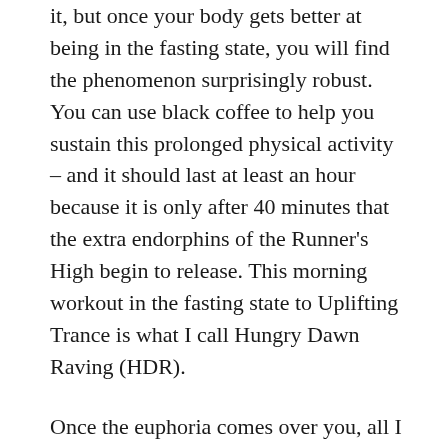it, but once your body gets better at being in the fasting state, you will find the phenomenon surprisingly robust. You can use black coffee to help you sustain this prolonged physical activity – and it should last at least an hour because it is only after 40 minutes that the extra endorphins of the Runner's High begin to release. This morning workout in the fasting state to Uplifting Trance is what I call Hungry Dawn Raving (HDR).
Once the euphoria comes over you, all I ask you to do then is to make a mental note of what things are particularly inspiring you to feel grateful, and also to observe how your thoughts about this traverse a landscape that might be suitable for the stanzas of an ode.
Later you will go through other stages, each of which are appropriate to the changing phases of the cycle.